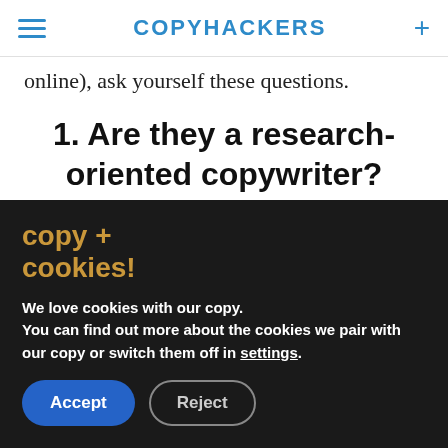COPYHACKERS
online), ask yourself these questions.
1. Are they a research-oriented copywriter?
The first big thing you should hear a conversion copywriter talk a lot about is voice
copy + cookies!
We love cookies with our copy. You can find out more about the cookies we pair with our copy or switch them off in settings.
Accept  Reject